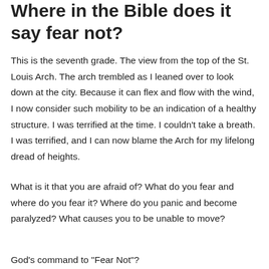Where in the Bible does it say fear not?
This is the seventh grade. The view from the top of the St. Louis Arch. The arch trembled as I leaned over to look down at the city. Because it can flex and flow with the wind, I now consider such mobility to be an indication of a healthy structure. I was terrified at the time. I couldn't take a breath. I was terrified, and I can now blame the Arch for my lifelong dread of heights.
What is it that you are afraid of? What do you fear and where do you fear it? Where do you panic and become paralyzed? What causes you to be unable to move?
God's command to "Fear Not"?